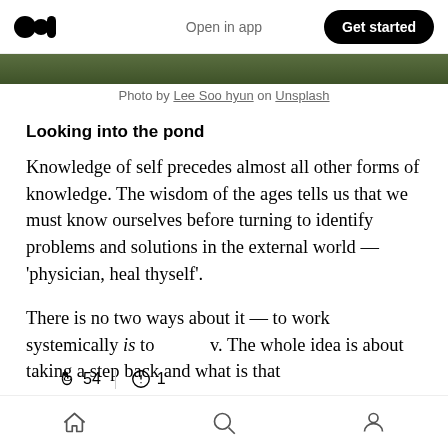Medium logo | Open in app | Get started
[Figure (photo): Green foliage/nature photo strip at top of article]
Photo by Lee Soo hyun on Unsplash
Looking into the pond
Knowledge of self precedes almost all other forms of knowledge. The wisdom of the ages tells us that we must know ourselves before turning to identify problems and solutions in the external world — ‘physician, heal thyself’.
There is no two ways about it — to work systemically is to [obscured] v. The whole idea is about taking a step back and what is that
Home | Search | Profile